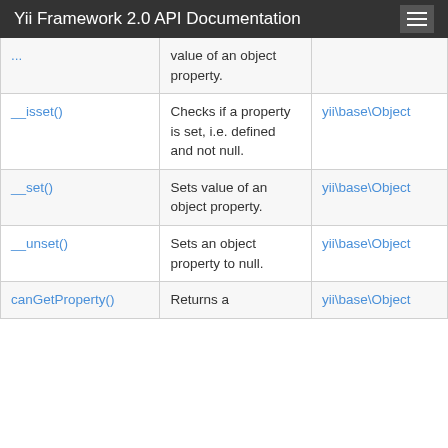Yii Framework 2.0 API Documentation
| Method | Description | Defined By |
| --- | --- | --- |
| ...(truncated) | value of an object property. |  |
| __isset() | Checks if a property is set, i.e. defined and not null. | yii\base\Object |
| __set() | Sets value of an object property. | yii\base\Object |
| __unset() | Sets an object property to null. | yii\base\Object |
| canGetProperty() | Returns a... | yii\base\Object |